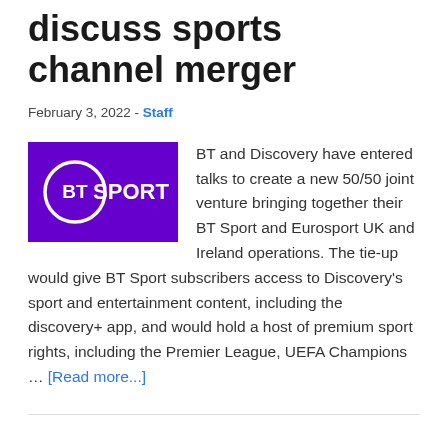discuss sports channel merger
February 3, 2022 - Staff
[Figure (logo): BT Sport logo — white text and circle on purple background]
BT and Discovery have entered talks to create a new 50/50 joint venture bringing together their BT Sport and Eurosport UK and Ireland operations. The tie-up would give BT Sport subscribers access to Discovery's sport and entertainment content, including the discovery+ app, and would hold a host of premium sport rights, including the Premier League, UEFA Champions … [Read more...]